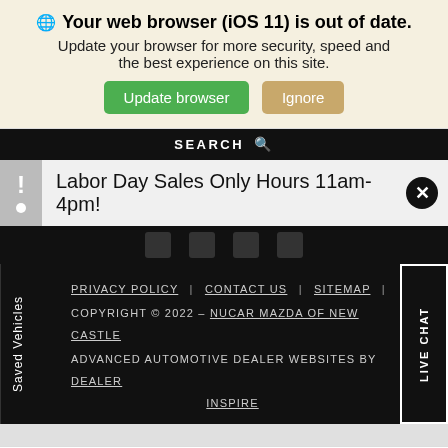Your web browser (iOS 11) is out of date. Update your browser for more security, speed and the best experience on this site. [Update browser] [Ignore]
SEARCH
Labor Day Sales Only Hours 11am-4pm!
PRIVACY POLICY | CONTACT US | SITEMAP | COPYRIGHT © 2022 - NUCAR MAZDA OF NEW CASTLE ADVANCED AUTOMOTIVE DEALER WEBSITES BY DEALER INSPIRE
Search  Contact  Saved  [Accessibility]